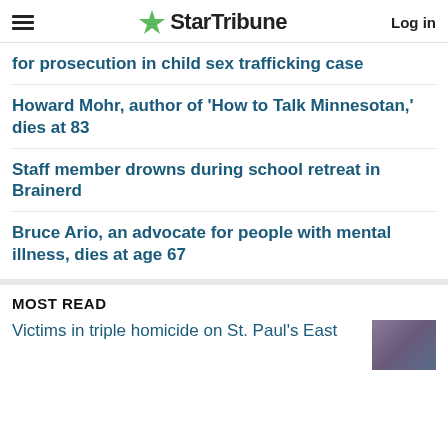StarTribune
for prosecution in child sex trafficking case
Howard Mohr, author of 'How to Talk Minnesotan,' dies at 83
Staff member drowns during school retreat in Brainerd
Bruce Ario, an advocate for people with mental illness, dies at age 67
MOST READ
Victims in triple homicide on St. Paul's East